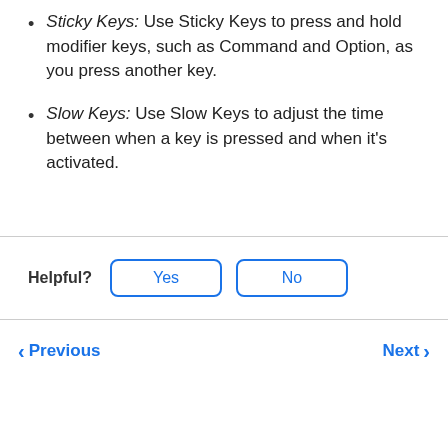Sticky Keys: Use Sticky Keys to press and hold modifier keys, such as Command and Option, as you press another key.
Slow Keys: Use Slow Keys to adjust the time between when a key is pressed and when it's activated.
Helpful?
Previous  Next